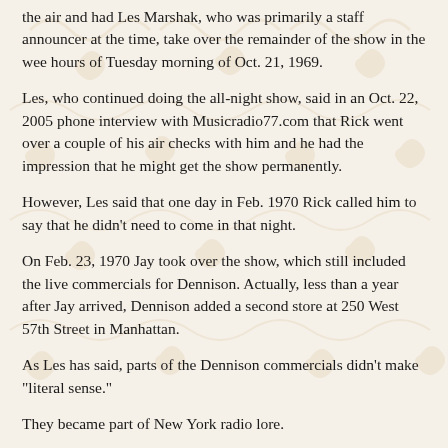the air and had Les Marshak, who was primarily a staff announcer at the time, take over the remainder of the show in the wee hours of Tuesday morning of Oct. 21, 1969.
Les, who continued doing the all-night show, said in an Oct. 22, 2005 phone interview with Musicradio77.com that Rick went over a couple of his air checks with him and he had the impression that he might get the show permanently.
However, Les said that one day in Feb. 1970 Rick called him to say that he didn't need to come in that night.
On Feb. 23, 1970 Jay took over the show, which still included the live commercials for Dennison. Actually, less than a year after Jay arrived, Dennison added a second store at 250 West 57th Street in Manhattan.
As Les has said, parts of the Dennison commercials didn't make "literal sense."
They became part of New York radio lore.
Jay - who arrived at WABC after generating huge ratings as the afternoon drive time personality on WIFE-AM, the market leader at that time in Indianapolis, according to www.reelradio.com - would continue doing the overnight show through Feb. 26, 1976.